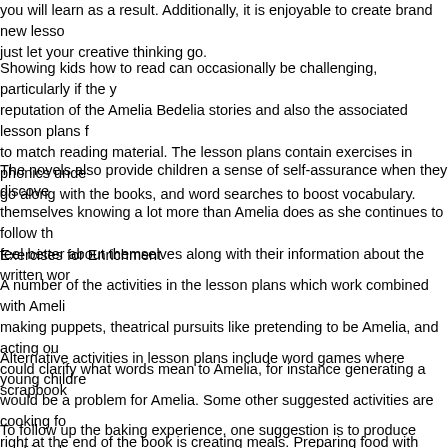you will learn as a result. Additionally, it is enjoyable to create brand new lesso just let your creative thinking go.
Showing kids how to read can occasionally be challenging, particularly if the y reputation of the Amelia Bedelia stories and also the associated lesson plans f to match reading material. The lesson plans contain exercises in phonics unde go along with the books, and word searches to boost vocabulary.
The novels also provide children a sense of self-assurance when they discove themselves knowing a lot more than Amelia does as she continues to follow th feel better about themselves along with their information about the written wor
Exercises for Enrichment
A number of the activities in the lesson plans which work combined with Ameli making puppets, theatrical pursuits like pretending to be Amelia, and acting ou could clarify what words mean to Amelia, for instance generating a scrapbook
Alternative activities in lesson plans include word games where young childre would be a problem for Amelia. Some other suggested activities are cooking fo right at the end of the book is creating meals. Preparing food with young childr mathematics, relationships, and the way to comply with instructions.
To follow up the baking experience, one suggestion is to produce cooking dire Amelia. Transform it into a competition among the pupils, to see who is going